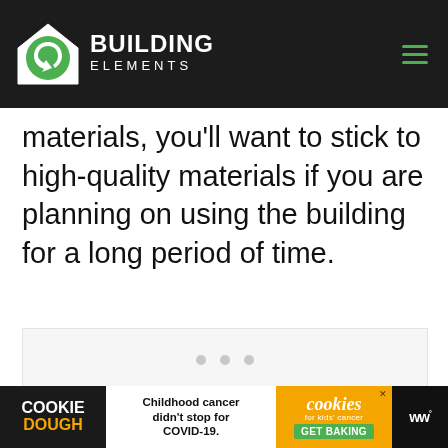Building Elements
materials, you'll want to stick to high-quality materials if you are planning on using the building for a long period of time.
[Figure (screenshot): Ad placeholder box with three grey dots indicating loading content]
[Figure (screenshot): Bottom advertisement banner: Cookie Dough brand ad with text 'Childhood cancer didn't stop for COVID-19.' and cookies for kids cancer GET BAKING button]